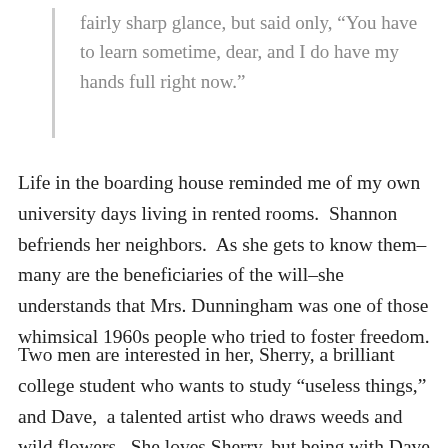fairly sharp glance, but said only, “You have to learn sometime, dear, and I do have my hands full right now.”
Life in the boarding house reminded me of my own university days living in rented rooms. Shannon befriends her neighbors. As she gets to know them–many are the beneficiaries of the will–she understands that Mrs. Dunningham was one of those whimsical 1960s people who tried to foster freedom.
Two men are interested in her, Sherry, a brilliant college student who wants to study “useless things,” and Dave, a talented artist who draws weeds and wild flowers. She loves Sherry, but being with Dave is like